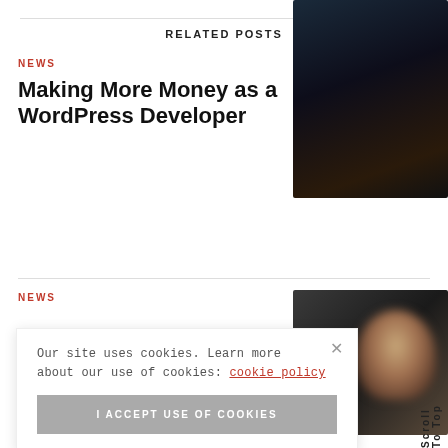RELATED POSTS
NEWS
Making More Money as a WordPress Developer
[Figure (photo): Dark blurred photo, possibly a night sky or landscape]
NEWS
[Figure (photo): Dark blurred photo with a person silhouette]
Our site uses cookies. Learn more about our use of cookies: cookie policy
I ACCEPT USE OF COOKIES